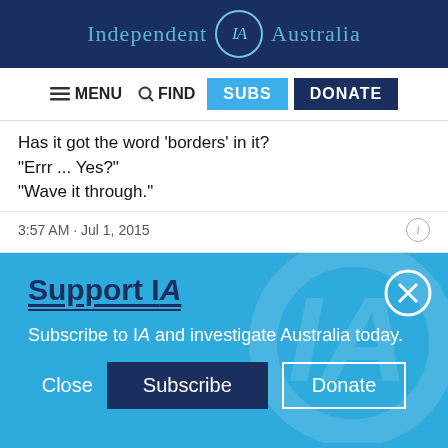Independent IA Australia
[Figure (screenshot): Navigation bar with MENU, FIND, SUBS, and DONATE buttons]
Has it got the word 'borders' in it?
"Errr ... Yes?"
"Wave it through."
3:57 AM · Jul 1, 2015
Support IA
Subscribe to IA and investigate Australia today.
Close  Subscribe  Donate
Twitter  Facebook  LinkedIn  Flipboard  Link  Plus